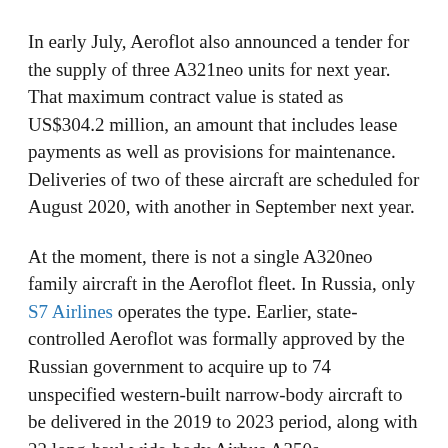In early July, Aeroflot also announced a tender for the supply of three A321neo units for next year. That maximum contract value is stated as US$304.2 million, an amount that includes lease payments as well as provisions for maintenance. Deliveries of two of these aircraft are scheduled for August 2020, with another in September next year.
At the moment, there is not a single A320neo family aircraft in the Aeroflot fleet. In Russia, only S7 Airlines operates the type. Earlier, state-controlled Aeroflot was formally approved by the Russian government to acquire up to 74 unspecified western-built narrow-body aircraft to be delivered in the 2019 to 2023 period, along with 22 long-haul wide-body Airbus A350s.